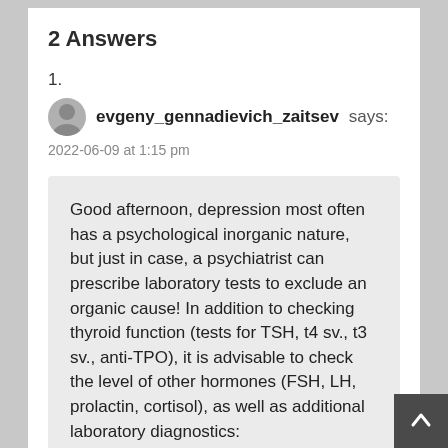2 Answers
1.
evgeny_gennadievich_zaitsev says:
2022-06-09 at 1:15 pm
Good afternoon, depression most often has a psychological inorganic nature, but just in case, a psychiatrist can prescribe laboratory tests to exclude an organic cause! In addition to checking thyroid function (tests for TSH, t4 sv., t3 sv., anti-TPO), it is advisable to check the level of other hormones (FSH, LH, prolactin, cortisol), as well as additional laboratory diagnostics: